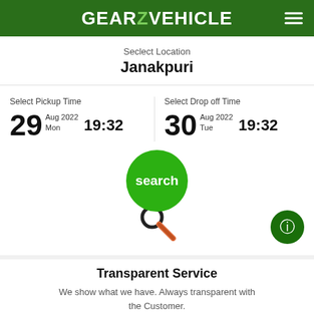GEARZ VEHICLE
Seclect Location
Janakpuri
Select Pickup Time
29 Aug 2022 Mon 19:32
Select Drop off Time
30 Aug 2022 Tue 19:32
[Figure (illustration): Green search button circle with magnifier icon and handle]
Transparent Service
We show what we have. Always transparent with the Customer.